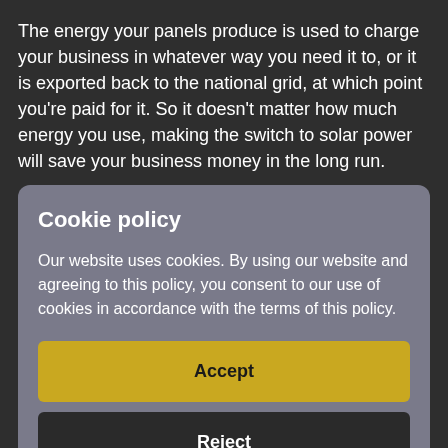The energy your panels produce is used to charge your business in whatever way you need it to, or it is exported back to the national grid, at which point you're paid for it. So it doesn't matter how much energy you use, making the switch to solar power will save your business money in the long run.
Cookie policy
Our website uses cookies. By using our website and agreeing to this policy, you consent to our use of cookies in accordance with the terms of this policy.
Accept
Reject